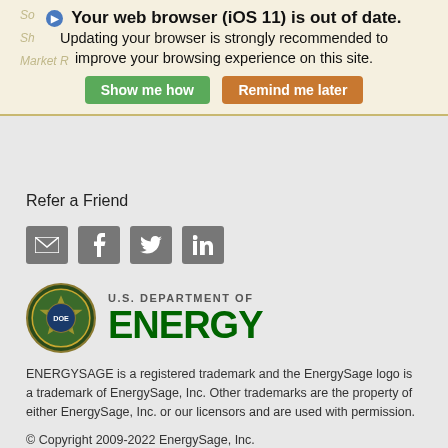[Figure (screenshot): Browser warning banner with shield icon, bold text 'Your web browser (iOS 11) is out of date.', subtitle 'Updating your browser is strongly recommended to improve your browsing experience on this site.', green button 'Show me how', orange button 'Remind me later'. Faded watermark text behind banner.]
Refer a Friend
[Figure (infographic): Four social media icons in gray square buttons: email/envelope, Facebook (f), Twitter bird, LinkedIn (in)]
[Figure (logo): U.S. Department of Energy logo with DOE seal on left and text 'U.S. DEPARTMENT OF' above large dark green 'ENERGY' text]
ENERGYSAGE is a registered trademark and the EnergySage logo is a trademark of EnergySage, Inc. Other trademarks are the property of either EnergySage, Inc. or our licensors and are used with permission.
© Copyright 2009-2022 EnergySage, Inc.
All rights reserved.
Terms of Use
Updated 10/2016
Privacy Policy
Updated 01/2022
DMCA PROTECTED